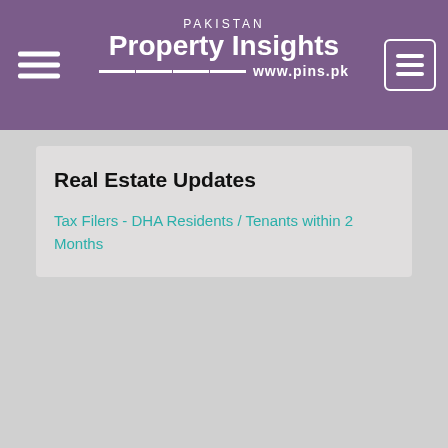PAKISTAN Property Insights www.pins.pk
Real Estate Updates
Tax Filers - DHA Residents / Tenants within 2 Months